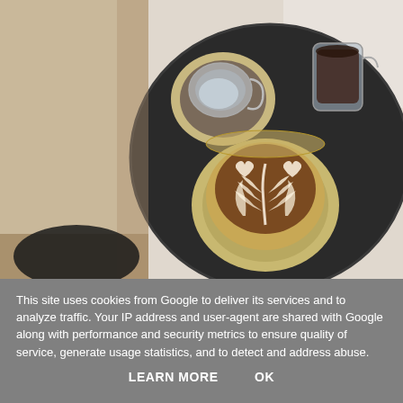[Figure (photo): Overhead view of a dark round tray on a wooden surface with three items: a small glass cup with clear liquid on a beige saucer (top left), a glass pitcher/carafe with dark liquid (top right), and a large latte cup on a beige saucer with elaborate latte art showing a rosette/leaf and heart patterns in white foam on a brown coffee background (center-bottom).]
This site uses cookies from Google to deliver its services and to analyze traffic. Your IP address and user-agent are shared with Google along with performance and security metrics to ensure quality of service, generate usage statistics, and to detect and address abuse.
LEARN MORE    OK